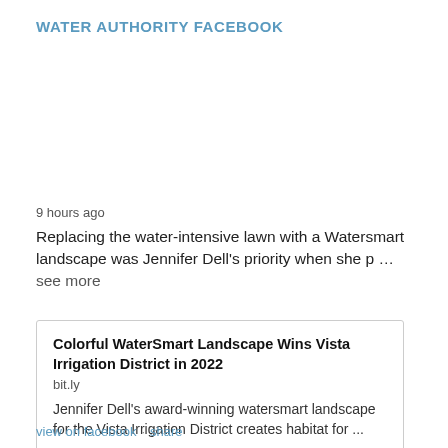WATER AUTHORITY FACEBOOK
9 hours ago
Replacing the water-intensive lawn with a Watersmart landscape was Jennifer Dell's priority when she p … see more
Colorful WaterSmart Landscape Wins Vista Irrigation District in 2022
bit.ly
Jennifer Dell's award-winning watersmart landscape for the Vista Irrigation District creates habitat for ...
view on facebook · share